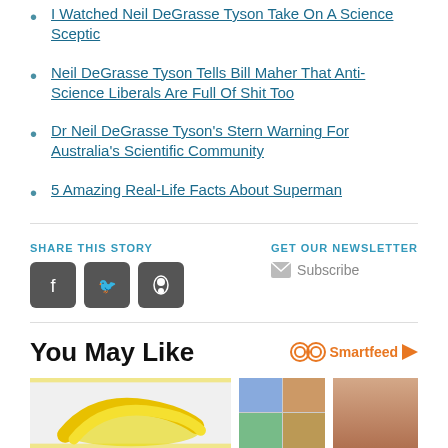I Watched Neil DeGrasse Tyson Take On A Science Sceptic
Neil DeGrasse Tyson Tells Bill Maher That Anti-Science Liberals Are Full Of Shit Too
Dr Neil DeGrasse Tyson's Stern Warning For Australia's Scientific Community
5 Amazing Real-Life Facts About Superman
SHARE THIS STORY
GET OUR NEWSLETTER
Subscribe
You May Like
Smartfeed
[Figure (photo): Photo of banana peels on white marble surface]
[Figure (photo): Collage of people photos and portrait of two girls]